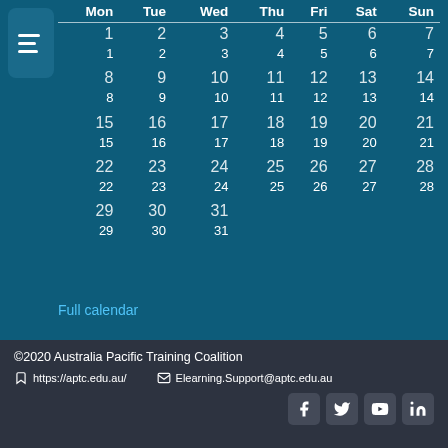[Figure (other): Calendar widget showing days of the month with columns Mon, Tue, Wed, Thu, Fri, Sat, Sun and rows 1-7, 8-14, 15-21, 22-28, 29-31]
Full calendar
©2020 Australia Pacific Training Coalition
https://aptc.edu.au/
Elearning.Support@aptc.edu.au